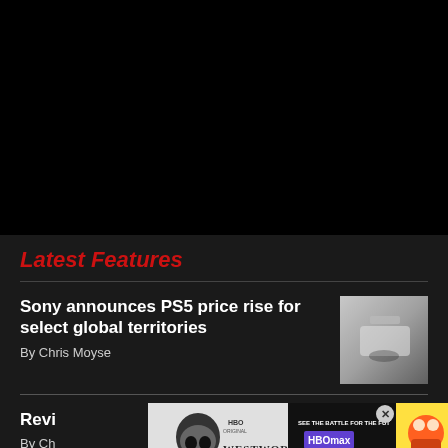[Figure (photo): Black area at top of page, likely a video or dark image placeholder]
Latest Features
Sony announces PS5 price rise for select global territories
By Chris Moyse
[Figure (photo): PS5 console thumbnail image]
Revi...
By Ch...
[Figure (screenshot): HBO Westworld advertisement banner with skull imagery]
[Figure (screenshot): HBOmax advertisement - See the battle for the future, plans start at $9.99/month]
[Figure (photo): Game thumbnail on right side of ad]